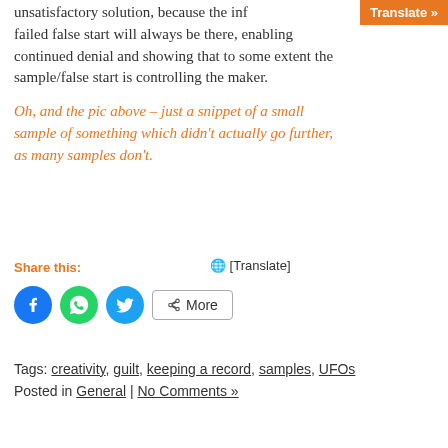unsatisfactory solution, because the information of a failed false start will always be there, enabling continued denial and showing that to some extent the sample/false start is controlling the maker.
Oh, and the pic above – just a snippet of a small sample of something which didn't actually go further, as many samples don't.
Share this:
[Figure (infographic): Globe emoji followed by [Translate] text]
[Figure (infographic): Social share buttons: Facebook (blue circle), WhatsApp (green circle), Twitter (blue circle), and a More button]
Tags: creativity, guilt, keeping a record, samples, UFOs
Posted in General | No Comments »